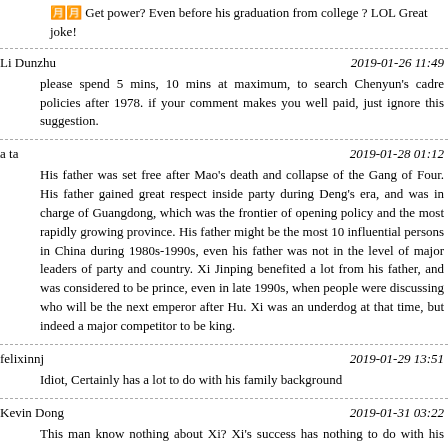🈷️🈷️ Get power? Even before his graduation from college ? LOL Great joke!
Li Dunzhu	2019-01-26 11:49
please spend 5 mins, 10 mins at maximum, to search Chenyun's cadre policies after 1978. if your comment makes you well paid, just ignore this suggestion.
a ta	2019-01-28 01:12
His father was set free after Mao's death and collapse of the Gang of Four. His father gained great respect inside party during Deng's era, and was in charge of Guangdong, which was the frontier of opening policy and the most rapidly growing province. His father might be the most 10 influential persons in China during 1980s-1990s, even his father was not in the level of major leaders of party and country. Xi Jinping benefited a lot from his father, and was considered to be prince, even in late 1990s, when people were discussing who will be the next emperor after Hu. Xi was an underdog at that time, but indeed a major competitor to be king.
felixinnj	2019-01-29 13:51
Idiot, Certainly has a lot to do with his family background
Kevin Dong	2019-01-31 03:22
This man know nothing about Xi? Xi's success has nothing to do with his father? You only know something enough to let you say those silly words, not even qualified to be wrong.
Kevin Dong	2019-02-01 13:22